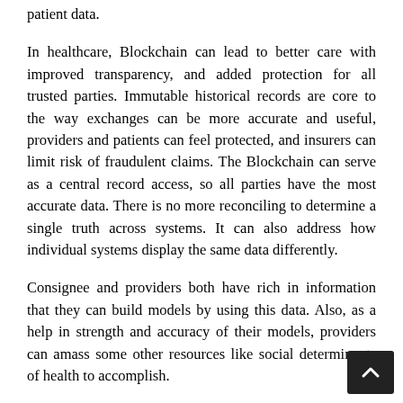patient data.
In healthcare, Blockchain can lead to better care with improved transparency, and added protection for all trusted parties. Immutable historical records are core to the way exchanges can be more accurate and useful, providers and patients can feel protected, and insurers can limit risk of fraudulent claims. The Blockchain can serve as a central record access, so all parties have the most accurate data. There is no more reconciling to determine a single truth across systems. It can also address how individual systems display the same data differently.
Consignee and providers both have rich in information that they can build models by using this data. Also, as a help in strength and accuracy of their models, providers can amass some other resources like social determinants of health to accomplish.
With predictive models have examined few patients with different chronic disease, model quite help full when looking at variables, it guides to prioritize patients who are really going to